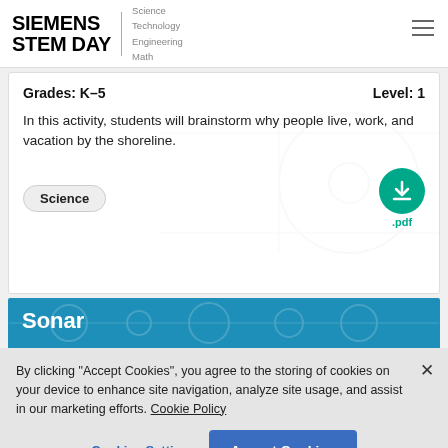[Figure (logo): Siemens STEM Day logo with Science Technology Engineering Math subtitle and hamburger menu icon]
Grades: K–5   Level: 1
In this activity, students will brainstorm why people live, work, and vacation by the shoreline.
Science
[Figure (other): Green circular download button with .pdf label]
Sonar
By clicking "Accept Cookies", you agree to the storing of cookies on your device to enhance site navigation, analyze site usage, and assist in our marketing efforts. Cookie Policy
Cookies Settings
Accept Cookies